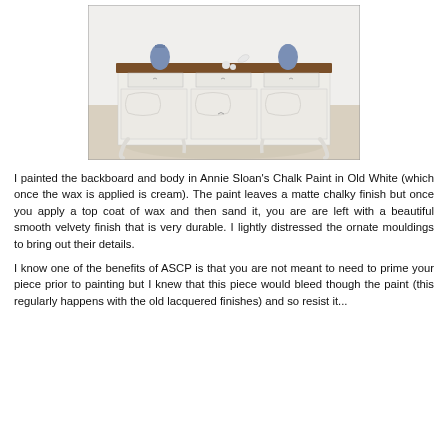[Figure (photo): A French provincial style sideboard/buffet painted in cream/off-white chalk paint with ornate carved mouldings, curved legs, and a dark walnut-stained wooden top. Two blue and white decorative vases and small white ornaments are placed on top. The piece sits on a light-coloured floor with white walls behind.]
I painted the backboard and body in Annie Sloan's Chalk Paint in Old White (which once the wax is applied is cream). The paint leaves a matte chalky finish but once you apply a top coat of wax and then sand it, you are are left with a beautiful smooth velvety finish that is very durable. I lightly distressed the ornate mouldings to bring out their details.
I know one of the benefits of ASCP is that you are not meant to need to prime your piece prior to painting but I knew that this piece would bleed though the paint (this regularly happens with the old lacquered finishes) and so resist it...